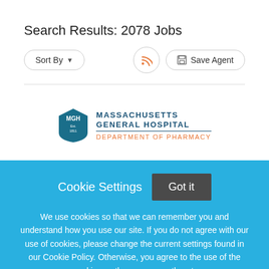Search Results: 2078 Jobs
Sort By | RSS | Save Agent
[Figure (logo): Massachusetts General Hospital Department of Pharmacy logo with MGH shield emblem]
Cookie Settings  Got it
We use cookies so that we can remember you and understand how you use our site. If you do not agree with our use of cookies, please change the current settings found in our Cookie Policy. Otherwise, you agree to the use of the cookies as they are currently set.